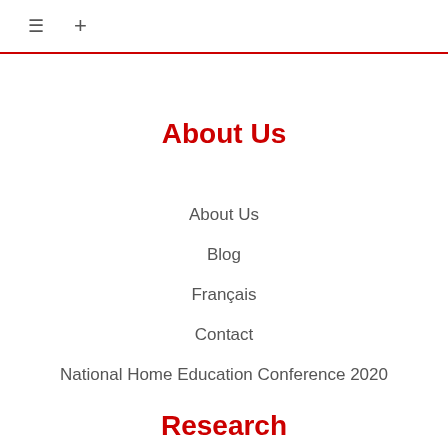≡ +
About Us
About Us
Blog
Français
Contact
National Home Education Conference 2020
Research